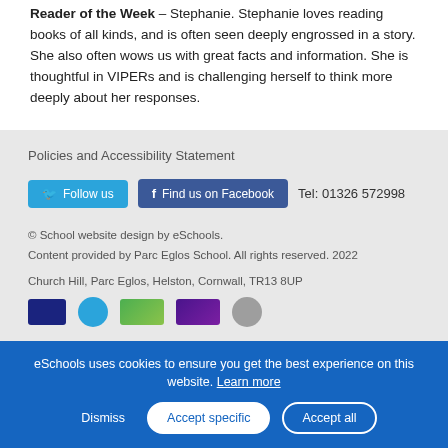Reader of the Week – Stephanie. Stephanie loves reading books of all kinds, and is often seen deeply engrossed in a story. She also often wows us with great facts and information. She is thoughtful in VIPERs and is challenging herself to think more deeply about her responses.
Policies and Accessibility Statement
Follow us   Find us on Facebook   Tel: 01326 572998
© School website design by eSchools. Content provided by Parc Eglos School. All rights reserved. 2022
Church Hill, Parc Eglos, Helston, Cornwall, TR13 8UP
[Figure (logo): Row of partner/badge logos at bottom of page]
eSchools uses cookies to ensure you get the best experience on this website. Learn more
Dismiss   Accept specific   Accept all